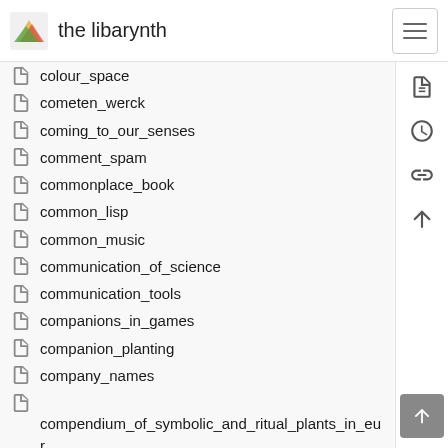the libarynth
colour_space
cometen_werck
coming_to_our_senses
comment_spam
commonplace_book
common_lisp
common_music
communication_of_science
communication_tools
companions_in_games
companion_planting
company_names
compendium_of_symbolic_and_ritual_plants_in_eur…
complexity
complex_system
complex_worlds
compost_notes